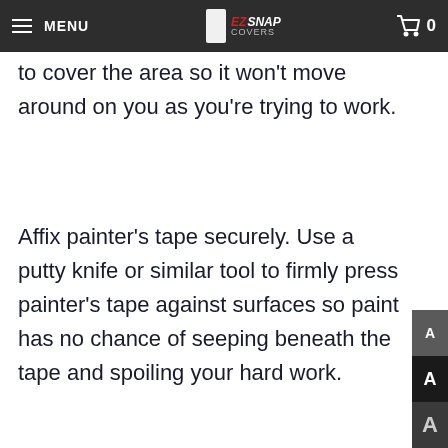MENU | EZ Snap Covers | 0
to cover the area so it won’t move around on you as you’re trying to work.
Affix painter’s tape securely. Use a putty knife or similar tool to firmly press painter’s tape against surfaces so paint has no chance of seeping beneath the tape and spoiling your hard work.